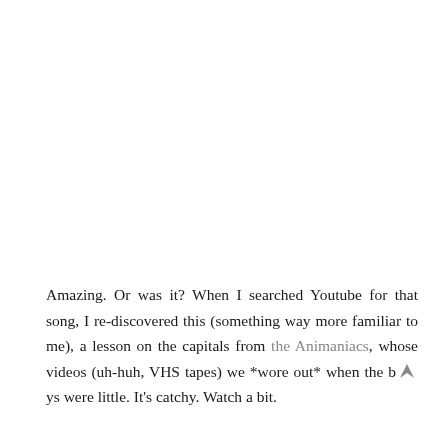Amazing. Or was it? When I searched Youtube for that song, I re-discovered this (something way more familiar to me), a lesson on the capitals from the Animaniacs, whose videos (uh-huh, VHS tapes) we *wore out* when the boys were little. It's catchy. Watch a bit.